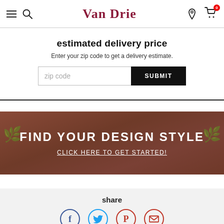Van Drie — navigation bar with menu, search, logo, location, cart
estimated delivery price
Enter your zip code to get a delivery estimate.
[Figure (screenshot): Zip code input field with placeholder 'zip code' and a black SUBMIT button]
[Figure (infographic): Dark reddish-brown banner with text FIND YOUR DESIGN STYLE and underlined link CLICK HERE TO GET STARTED!]
share
[Figure (infographic): Social share icons: Facebook (blue circle F), Twitter (blue circle bird), Pinterest (red circle P), Email (red circle envelope)]